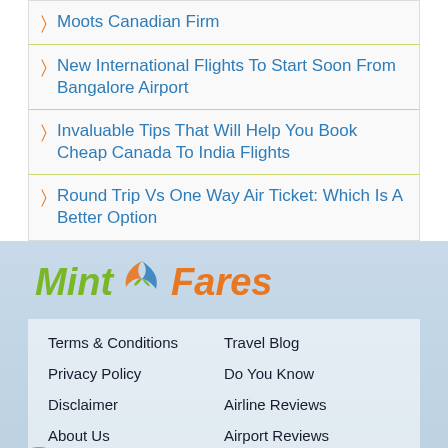Moots Canadian Firm
New International Flights To Start Soon From Bangalore Airport
Invaluable Tips That Will Help You Book Cheap Canada To India Flights
Round Trip Vs One Way Air Ticket: Which Is A Better Option
[Figure (logo): MintFares logo with green 'Mint' text and orange 'Fares' text and wing icon]
Terms & Conditions
Privacy Policy
Disclaimer
About Us
Cancellation Policy
Contact Us
Travel Blog
Do You Know
Airline Reviews
Airport Reviews
Travel Tips
NEWS